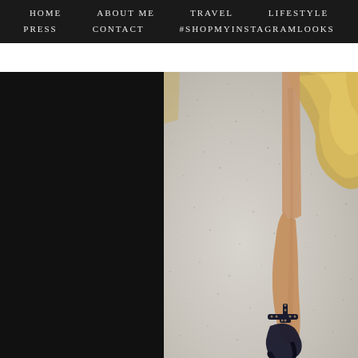HOME   ABOUT ME   TRAVEL   LIFESTYLE   PRESS   CONTACT   #SHOPMYINSTAGRAMLOOKS
[Figure (photo): Close-up photo of a woman's legs wearing a gold sequin mini dress and black studded Valentino Rockstud cage heels, standing on a light grey textured pavement.]